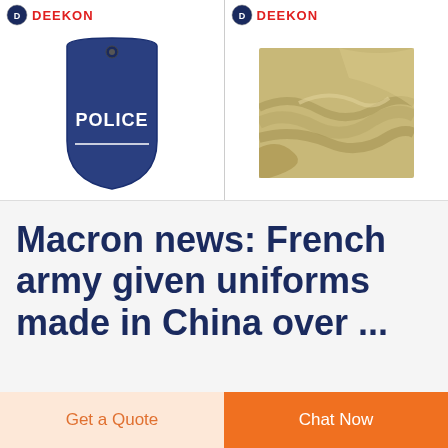[Figure (photo): DEEKON branded police riot shield (dark blue) product listing image]
[Figure (photo): DEEKON branded khaki/olive fabric material product listing image]
Macron news: French army given uniforms made in China over ...
Get a Quote
Chat Now